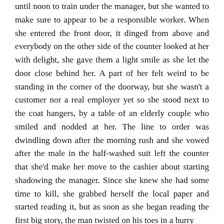until noon to train under the manager, but she wanted to make sure to appear to be a responsible worker. When she entered the front door, it dinged from above and everybody on the other side of the counter looked at her with delight, she gave them a light smile as she let the door close behind her. A part of her felt weird to be standing in the corner of the doorway, but she wasn't a customer nor a real employer yet so she stood next to the coat hangers, by a table of an elderly couple who smiled and nodded at her. The line to order was dwindling down after the morning rush and she vowed after the male in the half-washed suit left the counter that she'd make her move to the cashier about starting shadowing the manager. Since she knew she had some time to kill, she grabbed herself the local paper and started reading it, but as soon as she began reading the first big story, the man twisted on his toes in a hurry